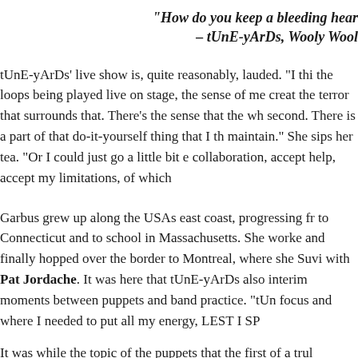“How do you keep a bleeding hear… – tUnE-yArDs, Wooly Wool…
tUnE-yArDs’ live show is, quite reasonably, lauded. “I thi… the loops being played live on stage, the sense of me creat… the terror that surrounds that. There’s the sense that the wh… second. There is a part of that do-it-yourself thing that I th… maintain.” She sips her tea. “Or I could just go a little bit e… collaboration, accept help, accept my limitations, of which…
Garbus grew up along the USAs east coast, progressing fr… to Connecticut and to school in Massachusetts. She worke… and finally hopped over the border to Montreal, where she… Suvi with Pat Jordache. It was here that tUnE-yArDs also… interim moments between puppets and band practice. “tUn… focus and where I needed to put all my energy, LEST I SP…
It was while the topic of the puppets that the first of a trul…